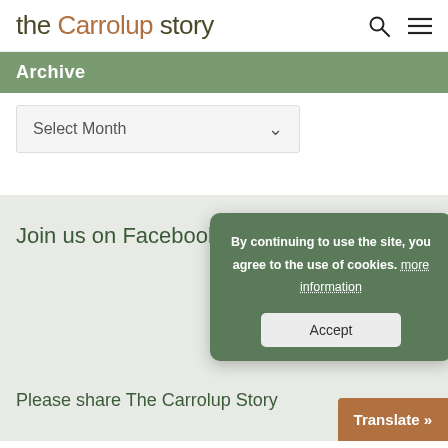the Carrolup story
Archive
Select Month
Join us on Facebook
By continuing to use the site, you agree to the use of cookies. more information
Accept
Please share The Carrolup Story
Translate »